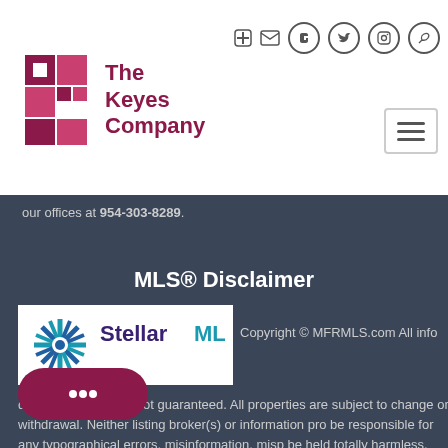[Figure (logo): The Keyes Company logo with stylized K in maroon/pink and company name text]
our offices at 954-303-8289.
MLS® Disclaimer
[Figure (logo): Stellar MLS logo with starburst icon in teal/navy and text StellarMLS in purple and teal]
Copyright © MFRMLS.com All info deemed reliable but not guaranteed. All properties are subject to change or withdrawal. Neither listing broker(s) or information pro be responsible for any typographical errors, misinformation, misp be held totally harmless. Listing(s) information is provided for con n-commercial use and may not be used for any purpo prospective properties consumers may be interested in Information on this site was last updated Last updated on Au